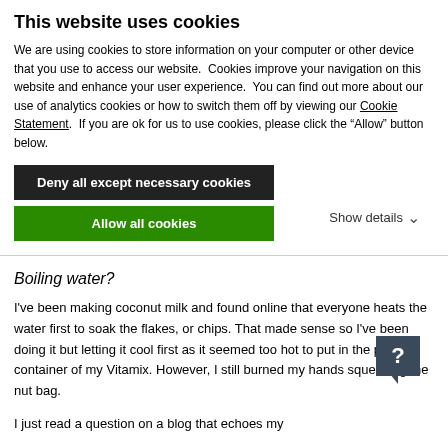This website uses cookies
We are using cookies to store information on your computer or other device that you use to access our website.  Cookies improve your navigation on this website and enhance your user experience.  You can find out more about our use of analytics cookies or how to switch them off by viewing our Cookie Statement.  If you are ok for us to use cookies, please click the “Allow” button below.
Deny all except necessary cookies
Allow all cookies
Show details
Boiling water?
I've been making coconut milk and found online that everyone heats the water first to soak the flakes, or chips. That made sense so I've been doing it but letting it cool first as it seemed too hot to put in the plastic container of my Vitamix. However, I still burned my hands squeezing the nut bag.
I just read a question on a blog that echoes my